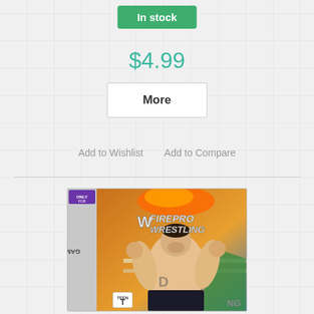In stock
$4.99
More
Add to Wishlist   Add to Compare
[Figure (photo): Game Boy Advance cartridge box art for WWE Fire Pro Wrestling, showing a large muscular wrestler in the ring, with 'Game Boy Advance' printed on the spine and 'Fire Pro Wrestling' logo on the cover. Rated Teen.]